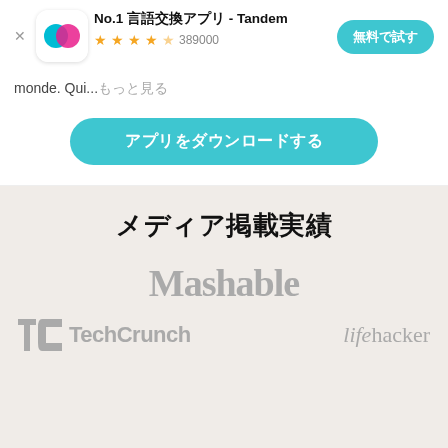[Figure (screenshot): App store banner for Tandem language exchange app showing app icon, rating of 389000 reviews, a try button, preview text, and download button]
monde. Qui...もっと見る
アプリをダウンロードする
メディア掲載実績
[Figure (logo): Mashable logo in gray]
[Figure (logo): TechCrunch logo in gray]
[Figure (logo): lifehacker logo in gray]